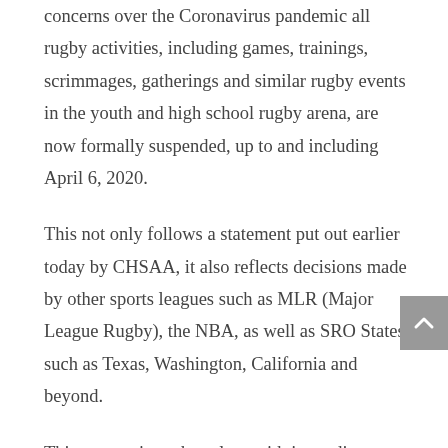concerns over the Coronavirus pandemic all rugby activities, including games, trainings, scrimmages, gatherings and similar rugby events in the youth and high school rugby arena, are now formally suspended, up to and including April 6, 2020.
This not only follows a statement put out earlier today by CHSAA, it also reflects decisions made by other sports leagues such as MLR (Major League Rugby), the NBA, as well as SRO States such as Texas, Washington, California and beyond.
This suspension takes place with immediate effect.
Next steps will be based on guidance from the Center for Disease Control and Prevention (CDC).